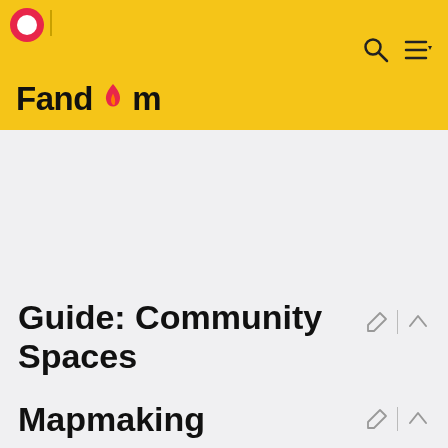Fandom
Guide: Community Spaces
Hi all, this is my guide on how to use Gather to foster a community.
Mapmaking